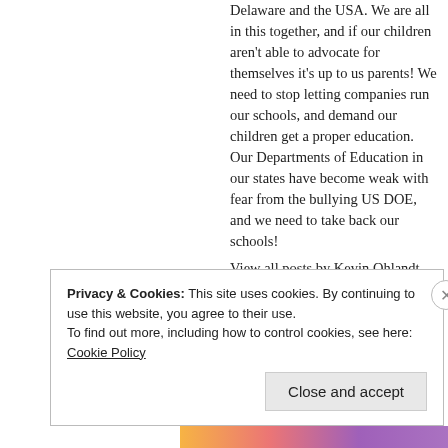Delaware and the USA. We are all in this together, and if our children aren't able to advocate for themselves it's up to us parents! We need to stop letting companies run our schools, and demand our children get a proper education. Our Departments of Education in our states have become weak with fear from the bullying US DOE, and we need to take back our schools!
View all posts by Kevin Ohlandt →
Privacy & Cookies: This site uses cookies. By continuing to use this website, you agree to their use.
To find out more, including how to control cookies, see here: Cookie Policy
Close and accept